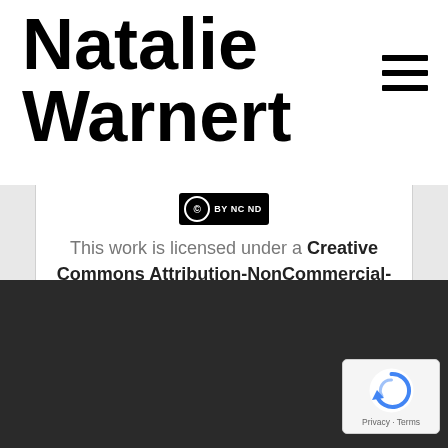Natalie Warnert
[Figure (logo): Hamburger menu icon (three horizontal lines)]
[Figure (logo): Creative Commons BY NC ND license badge]
This work is licensed under a Creative Commons Attribution-NonCommercial-NoDerivs 3.0 United States License.
[Figure (logo): reCAPTCHA badge with Privacy and Terms links]